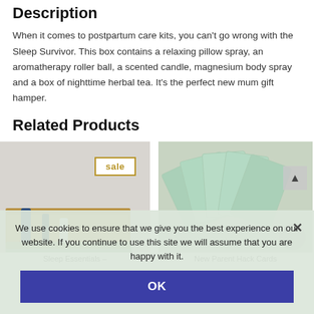Description
When it comes to postpartum care kits, you can't go wrong with the Sleep Survivor. This box contains a relaxing pillow spray, an aromatherapy roller ball, a scented candle, magnesium body spray and a box of nighttime herbal tea. It's the perfect new mum gift hamper.
Related Products
[Figure (photo): Product photo of Sleep Essentials gift box with straw packing and bottles, showing a 'sale' badge]
Sleep Essentials –
[Figure (photo): Photo of New Parent Hack Cards fanned out, mint green cards with illustrations]
New Parent Hack Cards
We use cookies to ensure that we give you the best experience on our website. If you continue to use this site we will assume that you are happy with it.